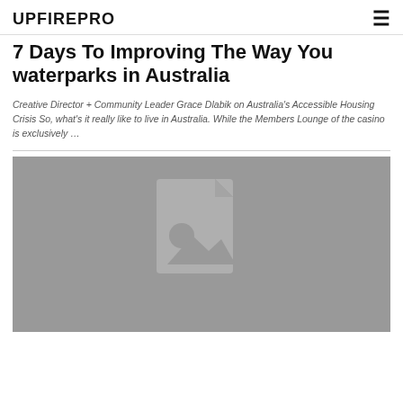UPFIREPRO
7 Days To Improving The Way You waterparks in Australia
Creative Director + Community Leader Grace Dlabik on Australia's Accessible Housing Crisis So, what's it really like to live in Australia. While the Members Lounge of the casino is exclusively …
[Figure (photo): Grey placeholder image with a document/image icon in the center]